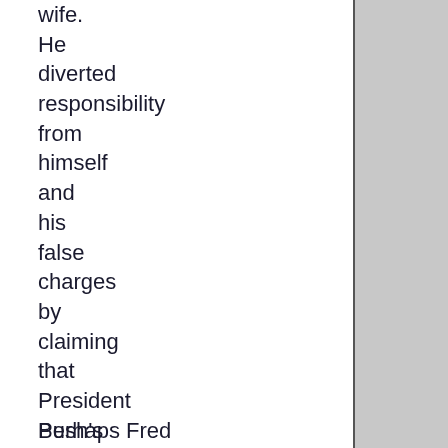wife. He diverted responsibility from himself and his false charges by claiming that President Bush's closest aides had engaged in an illegal conspiracy.
Perhaps Fred